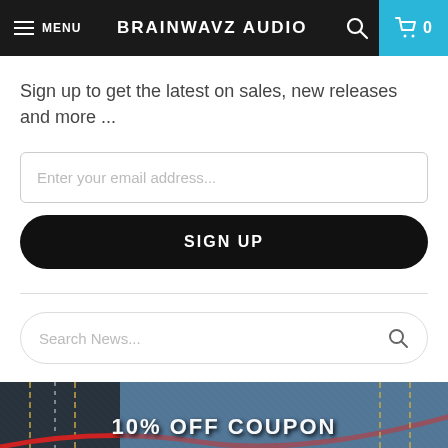MENU  BRAINWAVZ AUDIO  🔍  🛒 0
Sign up to get the latest on sales, new releases and more ...
Enter your email address...
SIGN UP
Search News...
[Figure (photo): Close-up photo of denim jeans with red earphone cable, overlaid with text '10% OFF COUPON' and 'Sign up to get the latest on sales, new']